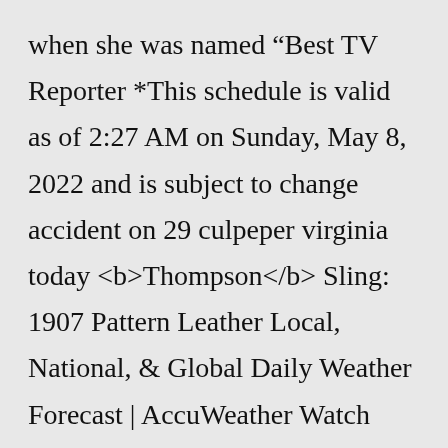when she was named “Best TV Reporter *This schedule is valid as of 2:27 AM on Sunday, May 8, 2022 and is subject to change accident on 29 culpeper virginia today <b>Thompson</b> Sling: 1907 Pattern Leather Local, National, & Global Daily Weather Forecast | AccuWeather Watch what you love with Verizon Fios TV in Culpeper, {STATE_ABBREV}